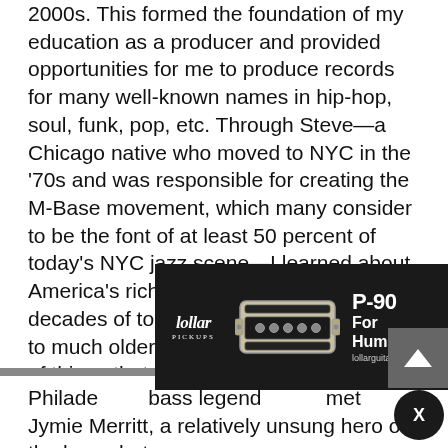2000s. This formed the foundation of my education as a producer and provided opportunities for me to produce records for many well-known names in hip-hop, soul, funk, pop, etc. Through Steve—a Chicago native who moved to NYC in the '70s and was responsible for creating the M-Base movement, which many consider to be the font of at least 50 percent of today's NYC jazz scene—I learned about America's rich jazz tradition. Between decades of touring, hanging out listening to much older musicians, and the wealth of things that Steve and others taught me directly, this formed the foundation of my music education. It gave me the tools to begin the Creative Music Program, which served as a foundation for many young creative musicians coming out of Philadelphia.
[Figure (other): Lollar Pickups advertisement for P-90 For Humbucker guitar pickup, showing logo, pickup image, product name and website lollarguitars.com/novel90]
Philadelphia bass legend... met Jymie Merritt, a relatively unsung hero of the bass, but a